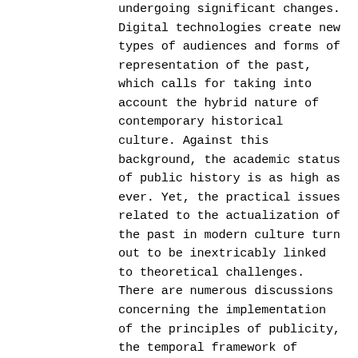undergoing significant changes. Digital technologies create new types of audiences and forms of representation of the past, which calls for taking into account the hybrid nature of contemporary historical culture. Against this background, the academic status of public history is as high as ever. Yet, the practical issues related to the actualization of the past in modern culture turn out to be inextricably linked to theoretical challenges. There are numerous discussions concerning the implementation of the principles of publicity, the temporal framework of modernity, effects of digital technologies, criteria of authenticity in relation to various artifacts of the past and forms of its appropriation. Theoretical ideas and concepts require reexamination and testing with regard to new social and